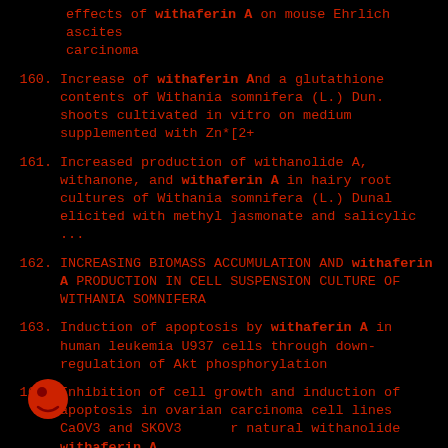(partial) effects of withaferin A on mouse Ehrlich ascites carcinoma
160. Increase of withaferin And a glutathione contents of Withania somnifera (L.) Dun. shoots cultivated in vitro on medium supplemented with Zn*[2+
161. Increased production of withanolide A, withanone, and withaferin A in hairy root cultures of Withania somnifera (L.) Dunal elicited with methyl jasmonate and salicylic ...
162. INCREASING BIOMASS ACCUMULATION AND withaferin A PRODUCTION IN CELL SUSPENSION CULTURE OF WITHANIA SOMNIFERA
163. Induction of apoptosis by withaferin A in human leukemia U937 cells through down-regulation of Akt phosphorylation
164. Inhibition of cell growth and induction of apoptosis in ovarian carcinoma cell lines CaOV3 and SKOV3 by natural withanolide withaferin A
165. Inhibition of inflammatory cytokine-induced response in human islet cells by withaferin A